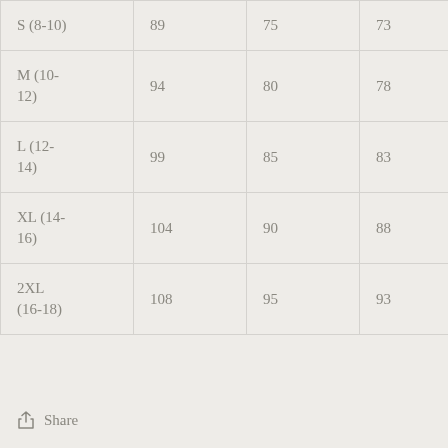| S (8-10) | 89 | 75 | 73 | 99 |
| M (10-12) | 94 | 80 | 78 | 104 |
| L (12-14) | 99 | 85 | 83 | 109 |
| XL (14-16) | 104 | 90 | 88 | 114 |
| 2XL (16-18) | 108 | 95 | 93 | 119 |
Share